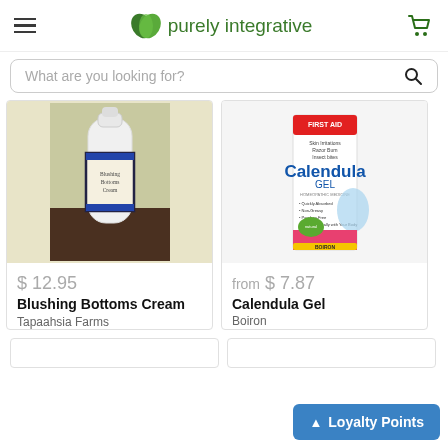purely integrative
What are you looking for?
[Figure (photo): White squeeze bottle of Blushing Bottoms Cream with dark label, on a wooden surface against a light green wall]
$ 12.95
Blushing Bottoms Cream
Tapaahsia Farms
[Figure (photo): Box of Boiron Calendula Gel - First Aid homeopathic medicine for skin irritations, razor burn, insect bites]
from $ 7.87
Calendula Gel
Boiron
▲ Loyalty Points